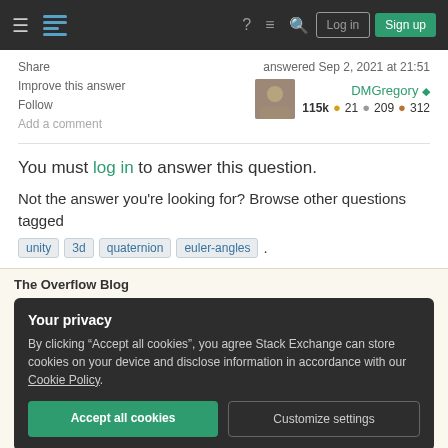Stack Exchange navigation bar with hamburger menu, logo, help, feedback, search icons, Log in and Sign up buttons
Share
Improve this answer
Follow
Add a comment
answered Sep 2, 2021 at 21:51
DMGregory ♦
115k ●21 ●209 ●312
You must log in to answer this question.
Not the answer you're looking for? Browse other questions tagged unity 3d quaternion euler-angles .
The Overflow Blog
Your privacy
By clicking "Accept all cookies", you agree Stack Exchange can store cookies on your device and disclose information in accordance with our Cookie Policy.
Accept all cookies  Customize settings